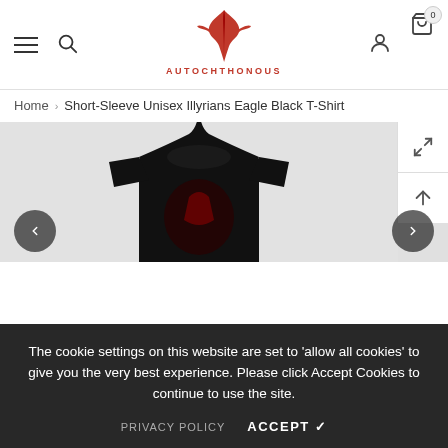AUTOCHTHONOUS — navigation header with hamburger menu, search, logo, user icon, cart (0)
Home > Short-Sleeve Unisex Illyrians Eagle Black T-Shirt
[Figure (photo): Black t-shirt on a hanger displayed on a light grey background, with zoom/expand controls on the right side and previous/next navigation arrows at bottom]
The cookie settings on this website are set to 'allow all cookies' to give you the very best experience. Please click Accept Cookies to continue to use the site.
PRIVACY POLICY   ACCEPT ✓